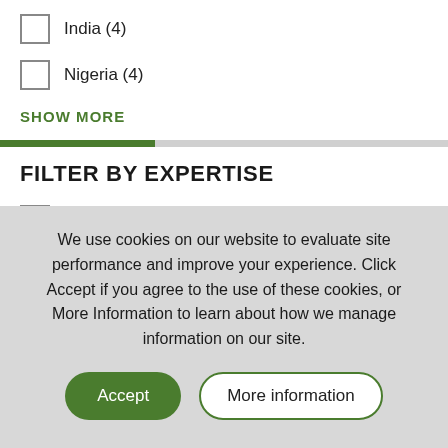India (4)
Nigeria (4)
SHOW MORE
FILTER BY EXPERTISE
Agricultural Productivity (9)
Climate and Natural Resources (7)
We use cookies on our website to evaluate site performance and improve your experience. Click Accept if you agree to the use of these cookies, or More Information to learn about how we manage information on our site.